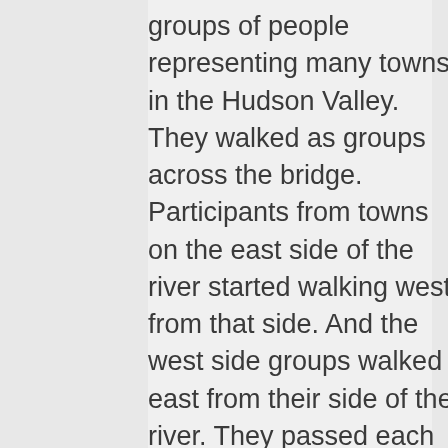groups of people representing many towns in the Hudson Valley. They walked as groups across the bridge. Participants from towns on the east side of the river started walking west from that side. And the west side groups walked east from their side of the river. They passed each other in the middle of the bridge. When they got to the end they walked back in the other direction. I just walked into the procession unquestioned and walked sometimes with one group and sometimes with another. They...